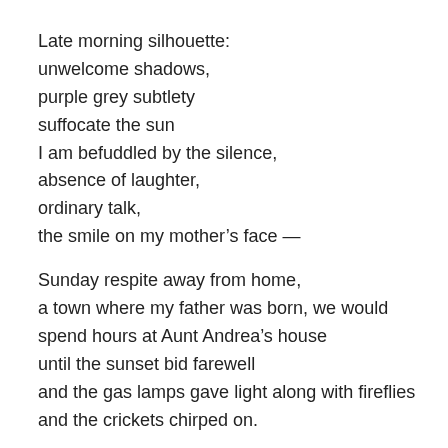Late morning silhouette:
unwelcome shadows,
purple grey subtlety
suffocate the sun
I am befuddled by the silence,
absence of laughter,
ordinary talk,
the smile on my mother's face —

Sunday respite away from home,
a town where my father was born, we would
spend hours at Aunt Andrea's house
until the sunset bid farewell
and the gas lamps gave light along with fireflies
and the crickets chirped on.